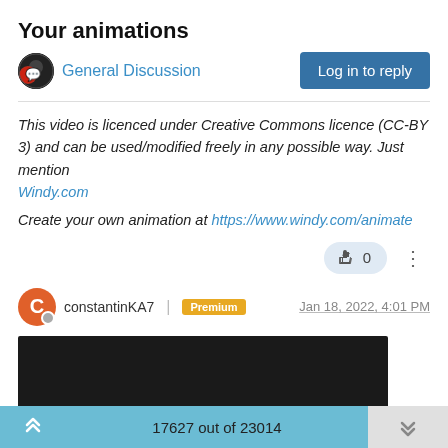Your animations
General Discussion
Log in to reply
This video is licenced under Creative Commons licence (CC-BY 3) and can be used/modified freely in any possible way. Just mention Windy.com
Create your own animation at https://www.windy.com/animate
0
constantinKA7 | Premium   Jan 18, 2022, 4:01 PM
[Figure (screenshot): Dark video thumbnail embed]
17627 out of 23014